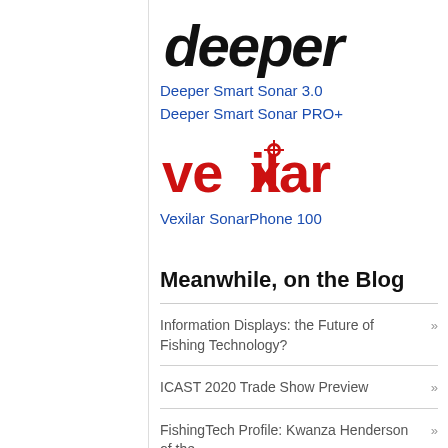[Figure (logo): Deeper brand logo in bold italic black text]
Deeper Smart Sonar 3.0
Deeper Smart Sonar PRO+
[Figure (logo): Vexilar brand logo in bold red text with star/crosshair mark on the x]
Vexilar SonarPhone 100
Meanwhile, on the Blog
Information Displays: the Future of Fishing Technology? »
ICAST 2020 Trade Show Preview »
FishingTech Profile: Kwanza Henderson of the »